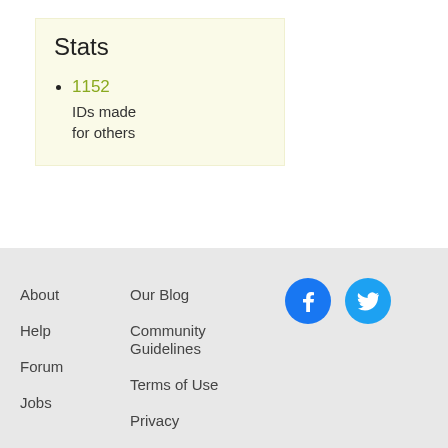Stats
1152 IDs made for others
About  Help  Forum  Jobs  Our Blog  Community Guidelines  Terms of Use  Privacy